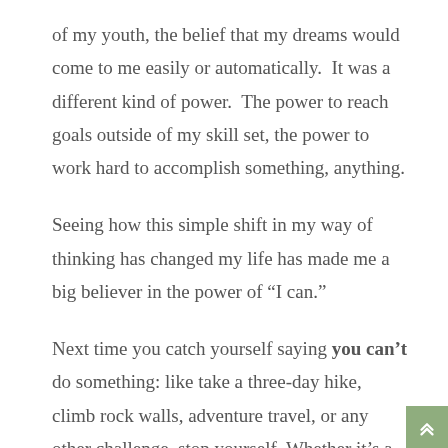of my youth, the belief that my dreams would come to me easily or automatically.  It was a different kind of power.  The power to reach goals outside of my skill set, the power to work hard to accomplish something, anything.
Seeing how this simple shift in my way of thinking has changed my life has made me a big believer in the power of “I can.”
Next time you catch yourself saying you can’t do something: like take a three-day hike, climb rock walls, adventure travel, or any other challenge, stop yourself. Whether it’s a physical ailment, a mental block, or